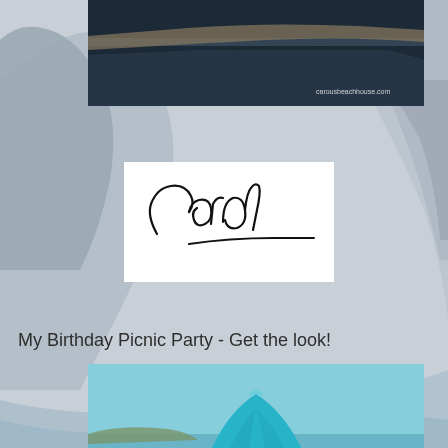[Figure (photo): Dark boat hull / ocean scene photo at top center of page with text 'carousbeachhouse.com' watermark]
[Figure (illustration): Handwritten cursive signature reading 'Carol' with a long underline stroke, on white background]
My Birthday Picnic Party - Get the look!
[Figure (photo): Teal/turquoise pillow in a wicker basket on the beach with ocean in background]